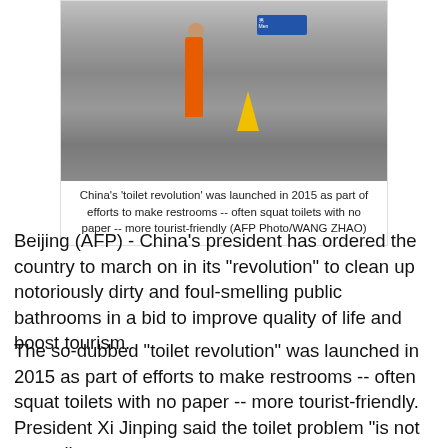[Figure (photo): A person in an orange jumpsuit stands outside a public restroom in China, talking on a phone next to a yellow wet-floor caution sign. A blue restroom sign is visible on the wall.]
China's 'toilet revolution' was launched in 2015 as part of efforts to make restrooms -- often squat toilets with no paper -- more tourist-friendly (AFP Photo/WANG ZHAO)
Beijing (AFP) - China's president has ordered the country to march on in its "revolution" to clean up notoriously dirty and foul-smelling public bathrooms in a bid to improve quality of life and boost tourism.
The so-dubbed "toilet revolution" was launched in 2015 as part of efforts to make restrooms -- often squat toilets with no paper -- more tourist-friendly.
President Xi Jinping said the toilet problem "is not a small